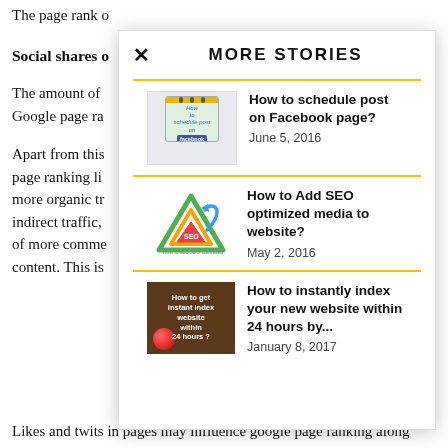The page rank of
Social shares of
The amount of Google page ra
Apart from this page ranking li more organic tr indirect traffic, of more comme content. This is
[Figure (screenshot): MORE STORIES modal overlay with three article links: 'How to schedule post on Facebook page?' (June 5, 2016), 'How to Add SEO optimized media to website?' (May 2, 2016), 'How to instantly index your new website within 24 hours by...' (January 8, 2017)]
Likes and twits in pages may influence google page ranking along